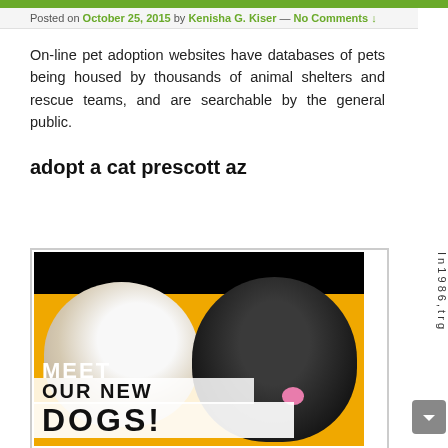Posted on October 25, 2015 by Kenisha G. Kiser — No Comments ↓
On-line pet adoption websites have databases of pets being housed by thousands of animal shelters and rescue teams, and are searchable by the general public.
adopt a cat prescott az
[Figure (photo): Photo of two small dogs side by side on an orange background with text overlays reading MEET OUR NEW DOGS!]
In 1986, tr g